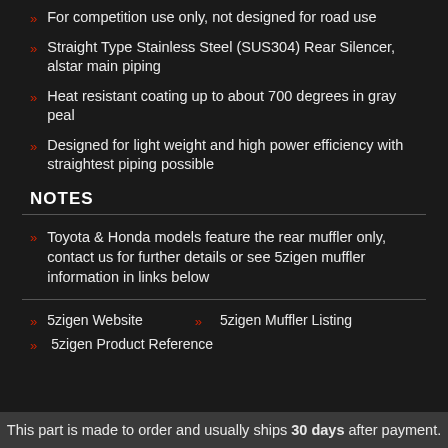For competition use only, not designed for road use
Straight Type Stainless Steel (SUS304) Rear Silencer, alstar main piping
Heat resistant coating up to about 700 degrees in gray peal
Designed for light weight and high power efficiency with straightest piping possible
NOTES
Toyota & Honda models feature the rear muffler only, contact us for further details or see 5zigen muffler information in links below
5zigen Website
5zigen Muffler Listing
5zigen Product Reference
This part is made to order and usually ships 30 days after payment.